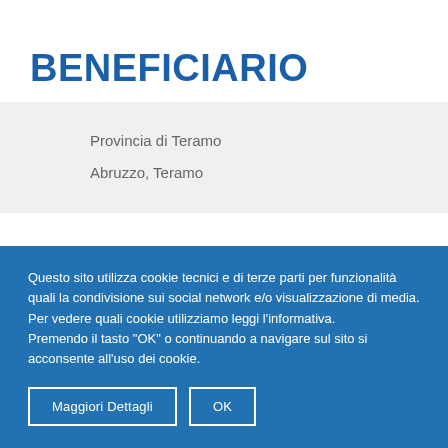BENEFICIARIO
Provincia di Teramo
Abruzzo, Teramo
Questo sito utilizza cookie tecnici e di terze parti per funzionalità quali la condivisione sui social network e/o visualizzazione di media.
Per vedere quali cookie utilizziamo leggi l'informativa.
Premendo il tasto "OK" o continuando a navigare sul sito si acconsente all'uso dei cookie.
Maggiori Dettagli
OK